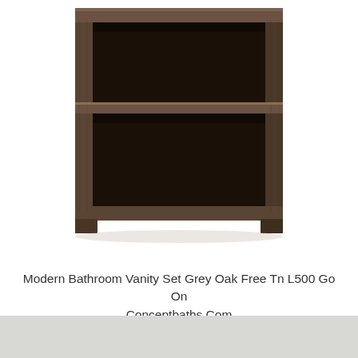[Figure (photo): A dark grey/espresso open-shelf bathroom cabinet unit with a single open cubby visible, no doors, shown from a front-angled perspective against a white background.]
Modern Bathroom Vanity Set Grey Oak Free Tn L500 Go On Conceptbaths Com
[Figure (photo): A modern bathroom vanity with a glass/frosted green countertop, rectangular undermount sink basin, a tall slender brushed nickel faucet, and a dark espresso/dark wood cabinet base with two frosted glass panel doors with brushed nickel pulls.]